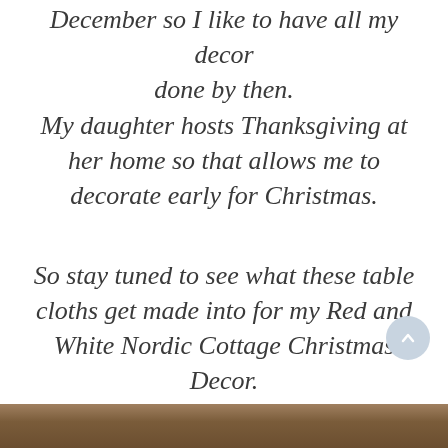December so I like to have all my decor done by then.
My daughter hosts Thanksgiving at her home so that allows me to decorate early for Christmas.
So stay tuned to see what these table cloths get made into for my Red and White Nordic Cottage Christmas Decor.
[Figure (photo): Bottom strip showing a textured brown/tan surface, likely a fabric or tabletop material.]